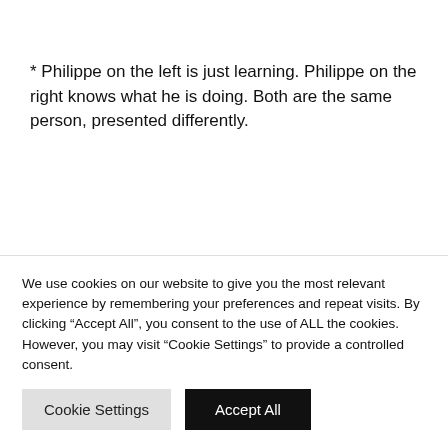* Philippe on the left is just learning. Philippe on the right knows what he is doing. Both are the same person, presented differently.
What's in it for me?
We use cookies on our website to give you the most relevant experience by remembering your preferences and repeat visits. By clicking “Accept All”, you consent to the use of ALL the cookies. However, you may visit “Cookie Settings” to provide a controlled consent.